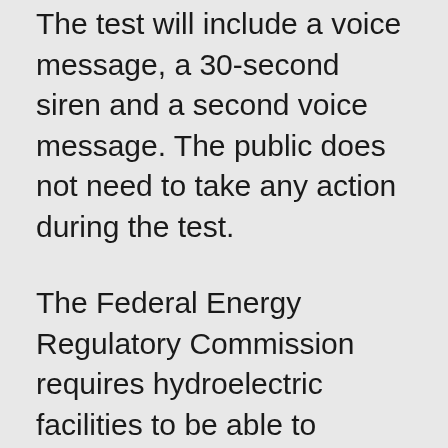The test will include a voice message, a 30-second siren and a second voice message. The public does not need to take any action during the test.
The Federal Energy Regulatory Commission requires hydroelectric facilities to be able to quickly notify residents and visitors of any developing emergency at the plants. Typically, Consumers Energy performs the test once in August and in December each year.
In the event of an emergency, the siren/speaker units' initial warning will be supplemented by information on radio and television stations along with Newaygo and Mecosta County emergency notification systems.
Consumers Energy offers a safety caution to those